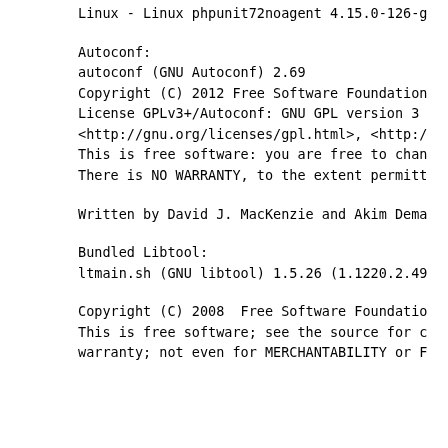Linux - Linux phpunit72noagent 4.15.0-126-g
Autoconf:
autoconf (GNU Autoconf) 2.69
Copyright (C) 2012 Free Software Foundation
License GPLv3+/Autoconf: GNU GPL version 3
<http://gnu.org/licenses/gpl.html>, <http:/
This is free software: you are free to chan
There is NO WARRANTY, to the extent permitt
Written by David J. MacKenzie and Akim Dema
Bundled Libtool:
ltmain.sh (GNU libtool) 1.5.26 (1.1220.2.49
Copyright (C) 2008  Free Software Foundatio
This is free software; see the source for c
warranty; not even for MERCHANTABILITY or F